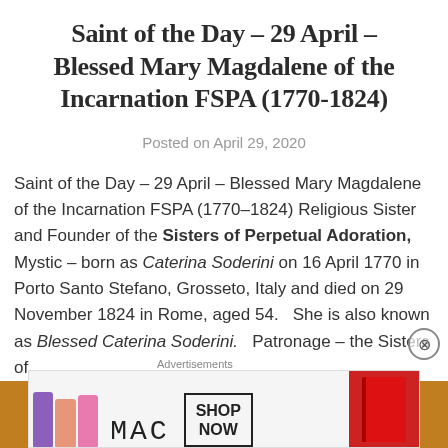Saint of the Day – 29 April – Blessed Mary Magdalene of the Incarnation FSPA (1770-1824)
Posted on April 29, 2020
Saint of the Day – 29 April – Blessed Mary Magdalene of the Incarnation FSPA (1770–1824) Religious Sister and Founder of the Sisters of Perpetual Adoration, Mystic – born as Caterina Soderini on 16 April 1770 in Porto Santo Stefano, Grosseto, Italy and died on 29 November 1824 in Rome, aged 54.   She is also known as Blessed Caterina Soderini.   Patronage – the Sisters of
Advertisements
[Figure (photo): MAC cosmetics advertisement banner showing lipsticks and MAC logo with SHOP NOW button]